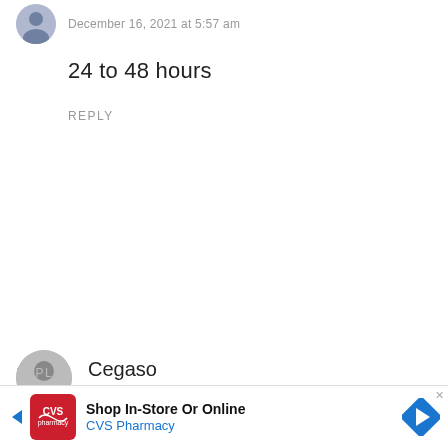December 16, 2021 at 5:57 am
24 to 48 hours
REPLY
Cegaso
December 31, 2021 at 7:24 am
Seus posts me auxiliam muito, obrigado e parabéns!!!!!!
REPLY
Shop In-Store Or Online
CVS Pharmacy